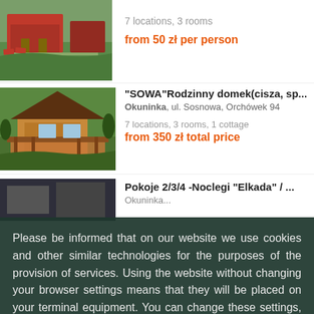[Figure (photo): Outdoor photo of a cabin/house with garden, chairs visible, green lawn, partial top of listing 1]
7 locations, 3 rooms
from 50 zł per person
[Figure (photo): Photo of a wooden log cottage with a covered porch/veranda, surrounded by trees and garden]
"SOWA"Rodzinny domek(cisza, sp...
Okuninka, ul. Sosnowa, Orchówek 94
7 locations, 3 rooms, 1 cottage
from 350 zł total price
Pokoje 2/3/4 -Noclegi "Elkada" / ...
Okuninka...
Please be informed that on our website we use cookies and other similar technologies for the purposes of the provision of services. Using the website without changing your browser settings means that they will be placed on your terminal equipment. You can change these settings, learn more from Privacy Policy.
Close